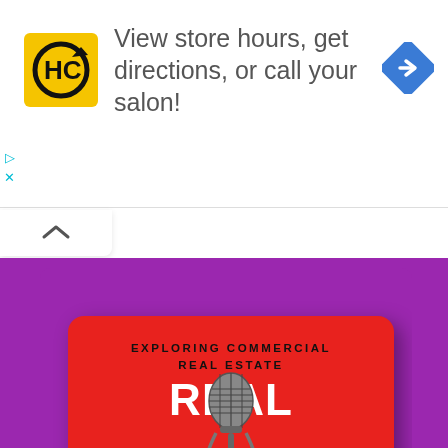[Figure (screenshot): HC salon logo — yellow square with black HC letters and circular arrows]
View store hours, get directions, or call your salon!
[Figure (logo): Blue diamond navigation arrow icon]
[Figure (screenshot): Chevron/collapse tab button]
[Figure (illustration): Real Perspectives Podcast cover art — purple background with red card, vintage microphone, text: EXPLORING COMMERCIAL REAL ESTATE / REAL / PERSPECTIVES / PODCAST]